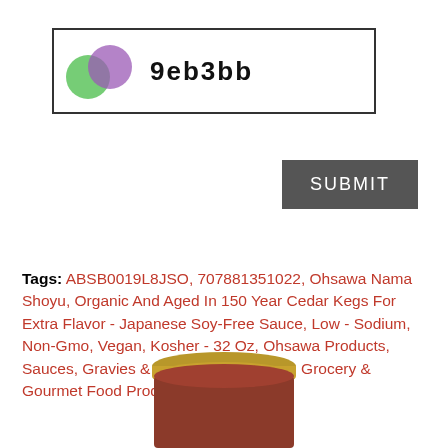[Figure (other): CAPTCHA image with colored circles (green and purple) and text '9eb3bb' inside a bordered box]
[Figure (other): Submit button with dark grey background and white text 'SUBMIT']
Tags: ABSB0019L8JSO, 707881351022, Ohsawa Nama Shoyu, Organic And Aged In 150 Year Cedar Kegs For Extra Flavor - Japanese Soy-Free Sauce, Low - Sodium, Non-Gmo, Vegan, Kosher - 32 Oz, Ohsawa Products, Sauces, Gravies & Marinades Products, Grocery & Gourmet Food Products
YOU MAY ALSO CONSIDER
[Figure (photo): Partial photo of a jar/bottle product with gold lid, visible at bottom of page]